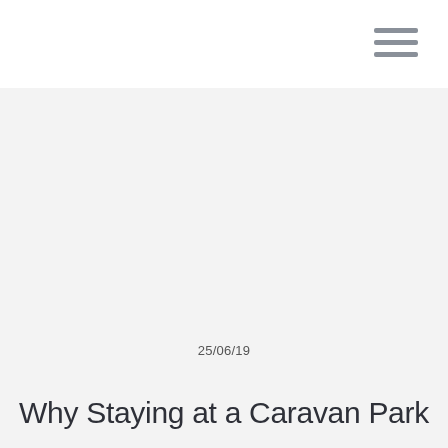25/06/19
Why Staying at a Caravan Park